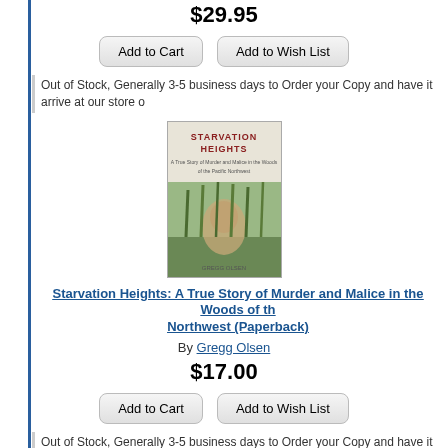$29.95
Add to Cart | Add to Wish List
Out of Stock, Generally 3-5 business days to Order your Copy and have it arrive at our store o
[Figure (photo): Book cover of Starvation Heights showing a face emerging from tall plants/foliage with red title text]
Starvation Heights: A True Story of Murder and Malice in the Woods of the Northwest (Paperback)
By Gregg Olsen
$17.00
Add to Cart | Add to Wish List
Out of Stock, Generally 3-5 business days to Order your Copy and have it arrive at our store o
[Figure (photo): Partial view of another book cover at the bottom of the page]